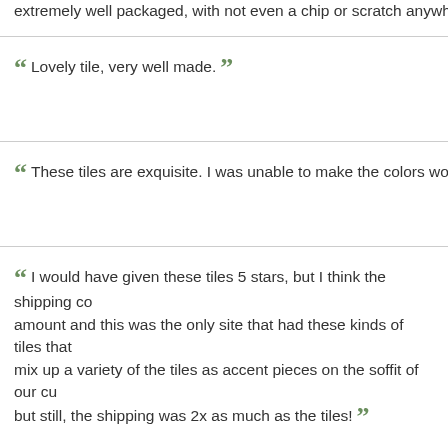extremely well packaged, with not even a chip or scratch anywhere
Lovely tile, very well made.
These tiles are exquisite. I was unable to make the colors work
I would have given these tiles 5 stars, but I think the shipping co amount and this was the only site that had these kinds of tiles that mix up a variety of the tiles as accent pieces on the soffit of our cu but still, the shipping was 2x as much as the tiles!